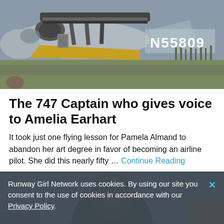[Figure (photo): Photograph of a vintage aircraft with registration number N55809 visible on the fuselage, with yellow and grey color scheme, on a grass airfield]
The 747 Captain who gives voice to Amelia Earhart
It took just one flying lesson for Pamela Almand to abandon her art degree in favor of becoming an airline pilot. She did this nearly fifty … Continue Reading
[Figure (photo): Partially visible photograph of a person, obscured by cookie consent banner]
Runway Girl Network uses cookies. By using our site you consent to the use of cookies in accordance with our Privacy Policy.